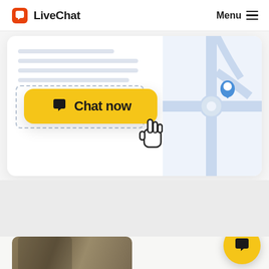[Figure (logo): LiveChat logo with orange speech bubble icon and 'LiveChat' text in bold black]
Menu
[Figure (screenshot): Website UI screenshot showing a chat widget button labeled 'Chat now' in yellow with a cursor hand icon clicking it, and a map with location pin on the right side. Dashed box outline shows button placement area. Text placeholder lines visible at top left.]
[Figure (screenshot): Bottom section showing partial product/watch image and a yellow circular LiveChat widget button in the bottom right corner.]